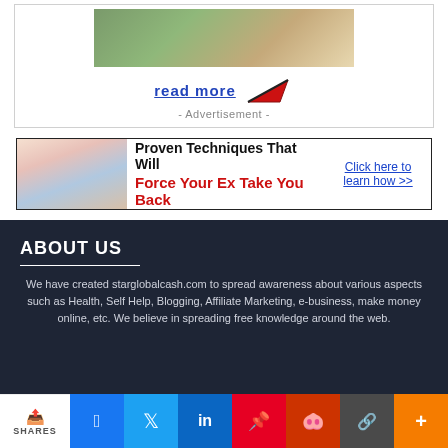[Figure (illustration): Advertisement box with couple image, 'read more' link in blue with red arrow, and '- Advertisement -' label]
[Figure (illustration): Banner ad: couple photo on left, black text 'Proven Techniques That Will', red text 'Force Your Ex Take You Back', blue CTA 'Click here to learn how >>']
ABOUT US
We have created starglobalcash.com to spread awareness about various aspects such as Health, Self Help, Blogging, Affiliate Marketing, e-business, make money online, etc. We believe in spreading free knowledge around the web.
[Figure (infographic): Social share bar with icons: SHARES, Facebook, Twitter, LinkedIn, Pinterest, Reddit, chain link, plus/more]